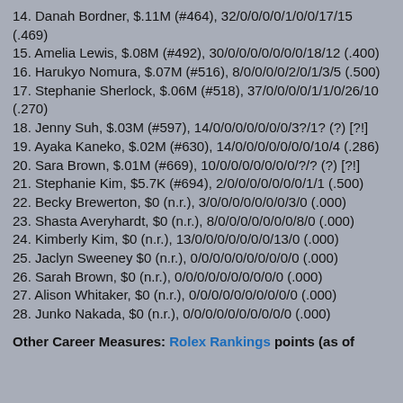14. Danah Bordner, $.11M (#464), 32/0/0/0/0/1/0/0/17/15 (.469)
15. Amelia Lewis, $.08M (#492), 30/0/0/0/0/0/0/0/18/12 (.400)
16. Harukyo Nomura, $.07M (#516), 8/0/0/0/0/2/0/1/3/5 (.500)
17. Stephanie Sherlock, $.06M (#518), 37/0/0/0/0/1/1/0/26/10 (.270)
18. Jenny Suh, $.03M (#597), 14/0/0/0/0/0/0/0/3?/1? (?) [?!]
19. Ayaka Kaneko, $.02M (#630), 14/0/0/0/0/0/0/0/10/4 (.286)
20. Sara Brown, $.01M (#669), 10/0/0/0/0/0/0/0/?/? (?) [?!]
21. Stephanie Kim, $5.7K (#694), 2/0/0/0/0/0/0/0/1/1 (.500)
22. Becky Brewerton, $0 (n.r.), 3/0/0/0/0/0/0/0/3/0 (.000)
23. Shasta Averyhardt, $0 (n.r.), 8/0/0/0/0/0/0/0/8/0 (.000)
24. Kimberly Kim, $0 (n.r.), 13/0/0/0/0/0/0/0/13/0 (.000)
25. Jaclyn Sweeney $0 (n.r.), 0/0/0/0/0/0/0/0/0/0 (.000)
26. Sarah Brown, $0 (n.r.), 0/0/0/0/0/0/0/0/0/0 (.000)
27. Alison Whitaker, $0 (n.r.), 0/0/0/0/0/0/0/0/0/0 (.000)
28. Junko Nakada, $0 (n.r.), 0/0/0/0/0/0/0/0/0/0 (.000)
Other Career Measures: Rolex Rankings points (as of